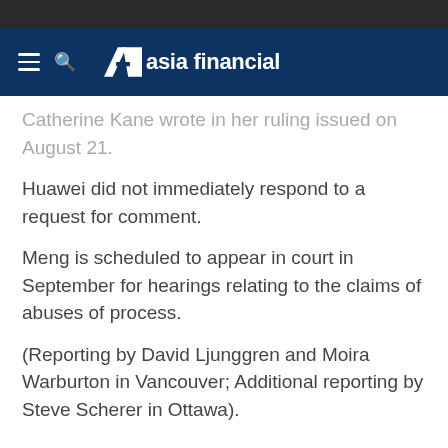asia financial
Catherine Kane wrote in her ruling issued on August 21.
Huawei did not immediately respond to a request for comment.
Meng is scheduled to appear in court in September for hearings relating to the claims of abuses of process.
(Reporting by David Ljunggren and Moira Warburton in Vancouver; Additional reporting by Steve Scherer in Ottawa).